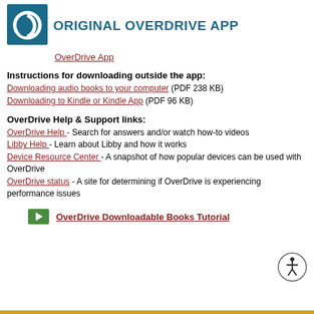ORIGINAL OVERDRIVE APP
[Figure (logo): OverDrive app logo — teal square with circular OverDrive icon]
OverDrive App
Instructions for downloading outside the app:
Downloading audio books to your computer (PDF 238 KB)
Downloading to Kindle or Kindle App (PDF 96 KB)
OverDrive Help & Support links:
OverDrive Help - Search for answers and/or watch how-to videos
Libby Help - Learn about Libby and how it works
Device Resource Center - A snapshot of how popular devices can be used with OverDrive
OverDrive status - A site for determining if OverDrive is experiencing performance issues
[Figure (other): Green play button icon linking to OverDrive Downloadable Books Tutorial]
OverDrive Downloadable Books Tutorial
[Figure (other): Accessibility icon — circle with stick figure person]